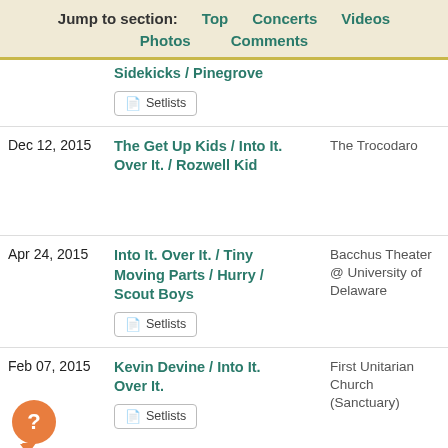Jump to section: Top  Concerts  Videos  Photos  Comments
| Date | Artists | Venue |  |
| --- | --- | --- | --- |
|  | Sidekicks / Pinegrove  [Setlists] |  |  |
| Dec 12, 2015 | The Get Up Kids / Into It. Over It. / Rozwell Kid | The Trocodaro | P P U S |
| Apr 24, 2015 | Into It. Over It. / Tiny Moving Parts / Hurry / Scout Boys  [Setlists] | Bacchus Theater @ University of Delaware | N |
| Feb 07, 2015 | Kevin Devine / Into It. Over It.  [Setlists] | First Unitarian Church (Sanctuary) | P P U S |